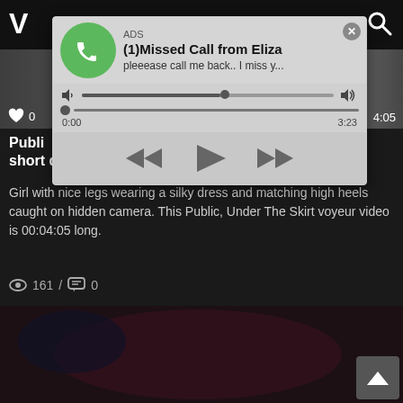[Figure (screenshot): Website header with white logo text 'V' on dark background and search icon]
[Figure (screenshot): Video thumbnail showing blurred image with like icon and duration 4:05]
[Figure (screenshot): Advertisement overlay popup with phone icon, title '(1)Missed Call from Eliza', subtitle 'pleeease call me back.. I miss y...', progress bar showing 0:00 to 3:23, and playback controls]
Public ... short dress
Girl with nice legs wearing a silky dress and matching high heels caught on hidden camera. This Public, Under The Skirt voyeur video is 00:04:05 long.
161 / 0
[Figure (screenshot): Blurred video thumbnail showing dark reddish/purple colored scene]